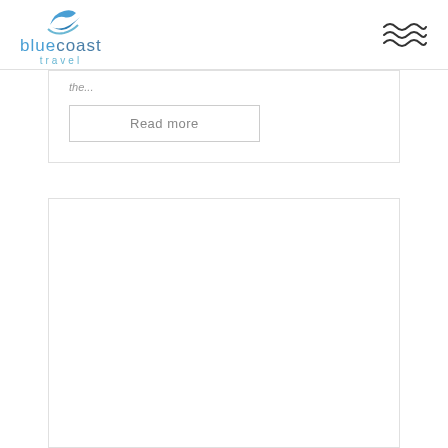bluecoast travel
the...
Read more
[Figure (other): Empty white card/content block]